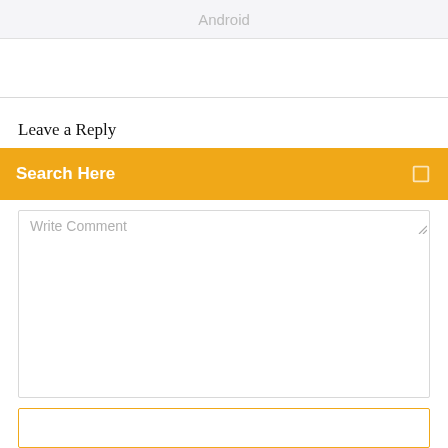Android
Leave a Reply
Search Here
Write Comment